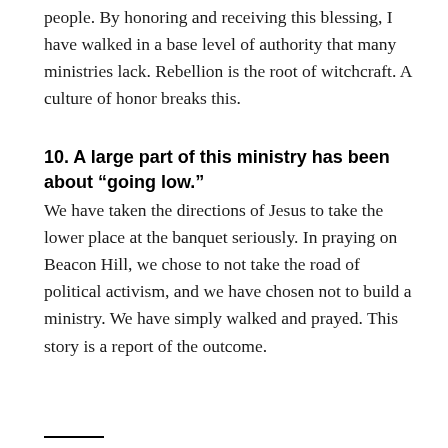people. By honoring and receiving this blessing, I have walked in a base level of authority that many ministries lack. Rebellion is the root of witchcraft. A culture of honor breaks this.
10. A large part of this ministry has been about “going low.”
We have taken the directions of Jesus to take the lower place at the banquet seriously. In praying on Beacon Hill, we chose to not take the road of political activism, and we have chosen not to build a ministry. We have simply walked and prayed. This story is a report of the outcome.